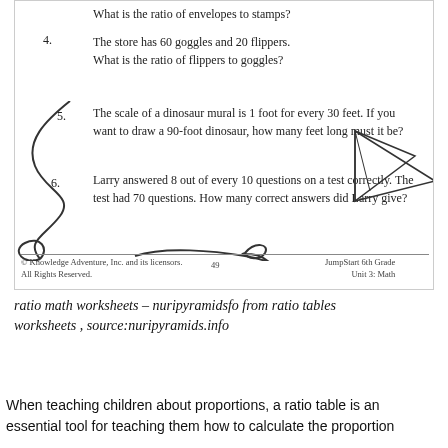What is the ratio of envelopes to stamps?
4. The store has 60 goggles and 20 flippers. What is the ratio of flippers to goggles?
5. The scale of a dinosaur mural is 1 foot for every 30 feet. If you want to draw a 90-foot dinosaur, how many feet long must it be?
6. Larry answered 8 out of every 10 questions on a test correctly. The test had 70 questions. How many correct answers did Larry give?
© Knowledge Adventure, Inc. and its licensors. All Rights Reserved.    49    JumpStart 6th Grade Unit 3: Math
ratio math worksheets – nuripyramidsfo from ratio tables worksheets , source:nuripyramids.info
When teaching children about proportions, a ratio table is an essential tool for teaching them how to calculate the proportion